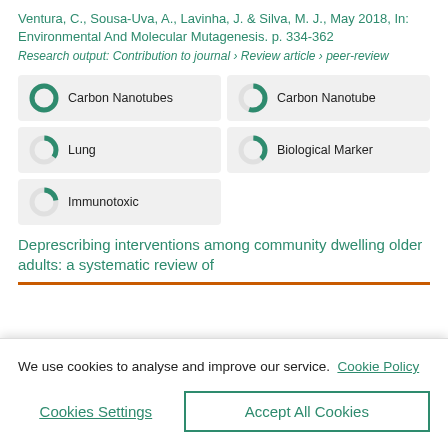Ventura, C., Sousa-Uva, A., Lavinha, J. & Silva, M. J., May 2018, In: Environmental And Molecular Mutagenesis. p. 334-362
Research output: Contribution to journal › Review article › peer-review
Carbon Nanotubes
Carbon Nanotube
Lung
Biological Marker
Immunotoxic
Deprescribing interventions among community dwelling older adults: a systematic review of
We use cookies to analyse and improve our service. Cookie Policy